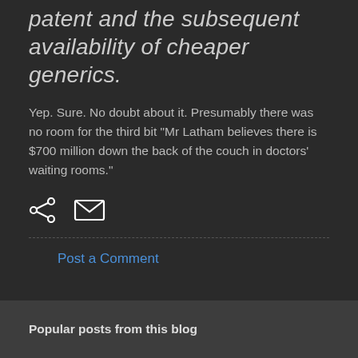patent and the subsequent availability of cheaper generics.
Yep. Sure. No doubt about it. Presumably there was no room for the third bit "Mr Latham believes there is $700 million down the back of the couch in doctors' waiting rooms."
[Figure (infographic): Share icon and email/envelope icon in white on dark background]
Post a Comment
Popular posts from this blog